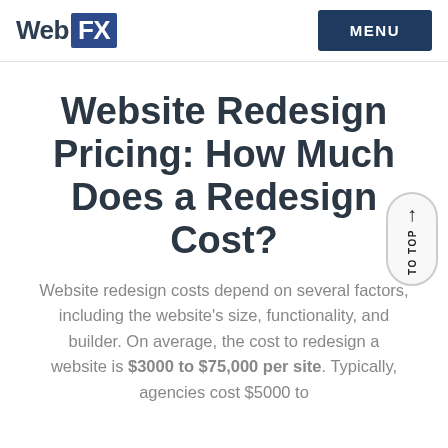WebFX — MENU
Website Redesign Pricing: How Much Does a Redesign Cost?
Website redesign costs depend on several factors, including the website's size, functionality, and builder. On average, the cost to redesign a website is $3000 to $75,000 per site. Typically, agencies cost $5000 to